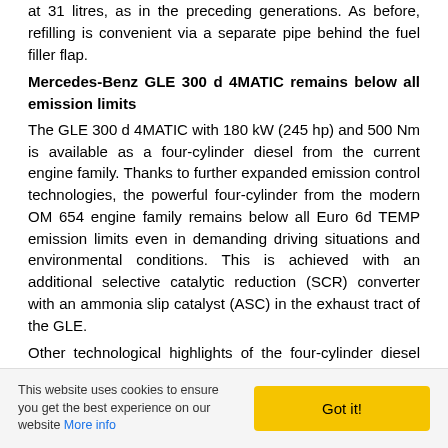at 31 litres, as in the preceding generations. As before, refilling is convenient via a separate pipe behind the fuel filler flap.
Mercedes-Benz GLE 300 d 4MATIC remains below all emission limits
The GLE 300 d 4MATIC with 180 kW (245 hp) and 500 Nm is available as a four-cylinder diesel from the current engine family. Thanks to further expanded emission control technologies, the powerful four-cylinder from the modern OM 654 engine family remains below all Euro 6d TEMP emission limits even in demanding driving situations and environmental conditions. This is achieved with an additional selective catalytic reduction (SCR) converter with an ammonia slip catalyst (ASC) in the exhaust tract of the GLE.
Other technological highlights of the four-cylinder diesel include:
> the stepped-bowl combustion system named after the shape of the combustion recess in the piston,
> the combination of an aluminium engine block and steel pistons,
> enhanced NANOSLIDE® coating of the cylinder
This website uses cookies to ensure you get the best experience on our website More info   Got it!